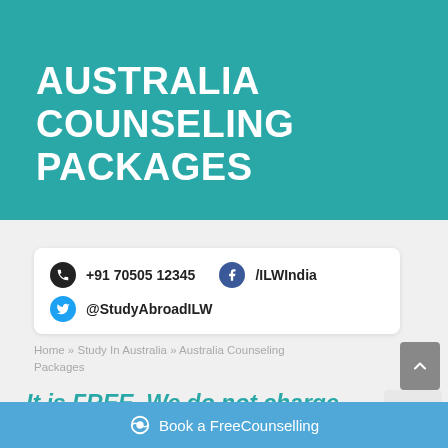AUSTRALIA COUNSELING PACKAGES
+91 70505 12345   /ILWIndia   @StudyAbroadILW
Home » Study In Australia » Australia Counseling Packages
It is FREE. We do not charge
Book a FreeCounselling